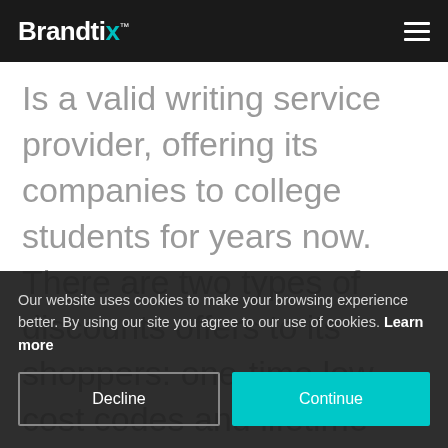Brandtix
Is a valid writing service provider, offering its companies to college students for years now. There are two types of discounts offers to its shoppers: one-time low cost codes and lifetime discount codes. New
Our website uses cookies to make your browsing experience better. By using our site you agree to our use of cookies. Learn more